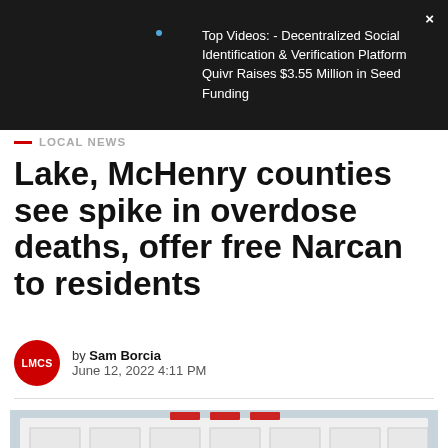[Figure (screenshot): Dark banner overlay showing video advertisement: 'Top Videos: - Decentralized Social Identification & Verification Platform Quivr Raises $3.55 Million in Seed Funding' with a close (×) button]
LOCAL NEWS
Lake, McHenry counties see spike in overdose deaths, offer free Narcan to residents
by Sam Borcia
June 12, 2022 4:11 PM
[Figure (photo): Photo of an ambulance with number 51 visible, partially cropped at bottom of page]